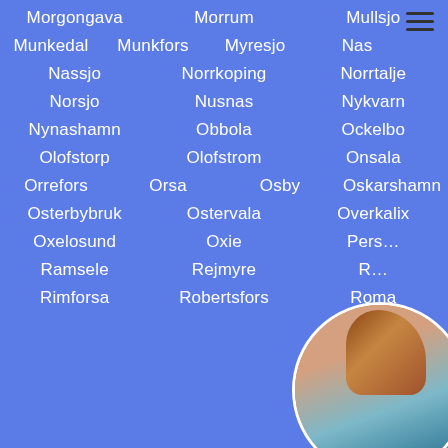Morgongava
Morrum
Mullsjo
Munkedal
Munkfors
Myresjo
Nas
Nassjo
Norrkoping
Norrtalje
Norsjo
Nusnas
Nykvarn
Nynashamn
Obbola
Ockelbo
Olofstorp
Olofstrom
Onsala
Orrefors
Orsa
Osby
Oskarshamn
Osterbybruk
Ostervala
Overkalix
Oxelosund
Oxie
Pers…
Ramsele
Rejmyre
R…
Rimforsa
Robertsfors
Roma